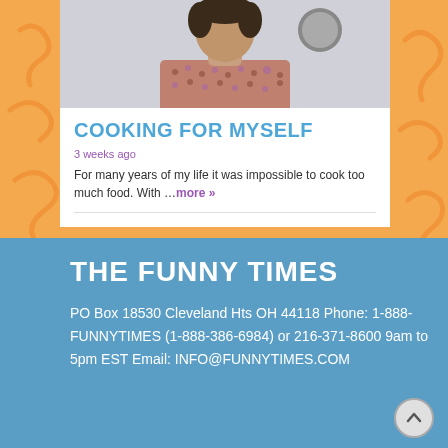[Figure (photo): Photo of a person wearing a patterned shirt, cropped to show upper body/face area]
COOKING FOR MYSELF
3 weeks ago
For many years of my life it was impossible to cook too much food. With …more »
THE FUNNY TIMES
PO Box 18530 Cleveland Hts OH 44118 Phone: 1-888-FUNNYTIMES (1-888-386-6984) or 216-371-8600 9am to 5pm EST Email: INFO@FUNNYTIMES.COM